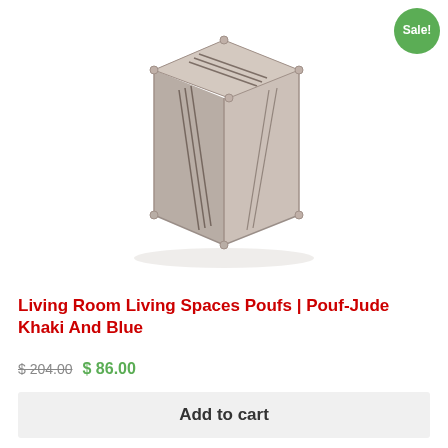[Figure (photo): A square khaki and blue striped fabric pouf ottoman on a white background. It is a cube-shaped seat with decorative stitched stripe details on the top and sides.]
Living Room Living Spaces Poufs | Pouf-Jude Khaki And Blue
$ 204.00 $ 86.00